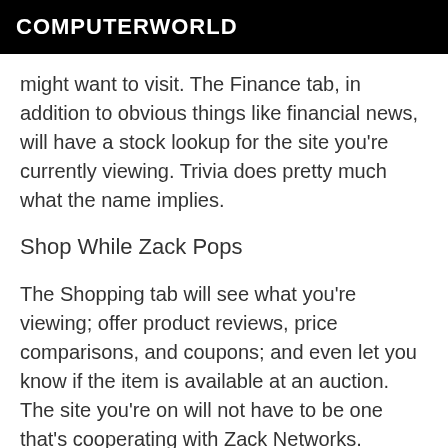COMPUTERWORLD
might want to visit. The Finance tab, in addition to obvious things like financial news, will have a stock lookup for the site you're currently viewing. Trivia does pretty much what the name implies.
Shop While Zack Pops
The Shopping tab will see what you're viewing; offer product reviews, price comparisons, and coupons; and even let you know if the item is available at an auction. The site you're on will not have to be one that's cooperating with Zack Networks.